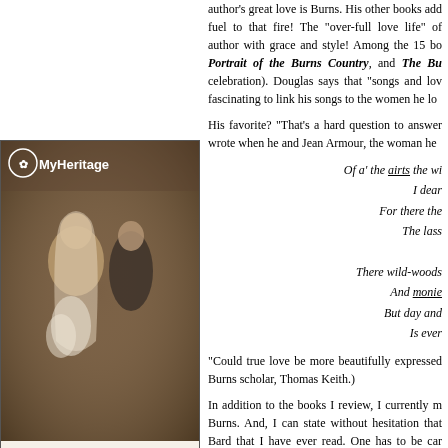[Figure (photo): MyHeritage advertisement featuring a sepia wedding photo of a bride and groom, with MyHeritage logo at top and 'Start Your' text at bottom]
author's great love is Burns. His other books add fuel to that fire! The "over-full love life" of author with grace and style! Among the 15 bo Portrait of the Burns Country, and The Bu celebration). Douglas says that "songs and lov fascinating to link his songs to the women he lo
His favorite? "That's a hard question to answer wrote when he and Jean Armour, the woman he
Of a' the airts the wi
I dear
For there the
The lass

There wild-woods
And monie
But day and
Is ever
"Could true love be more beautifully expressed Burns scholar, Thomas Keith.)
In addition to the books I review, I currently m Burns. And, I can state without hesitation that Bard that I have ever read. One has to be car Tinder Heart which deals with the total Burns - me to her. It is that good! This is the easiest b author is so good. In fact, his research is excell
One day I hope to sit with Hugh Douglas for a